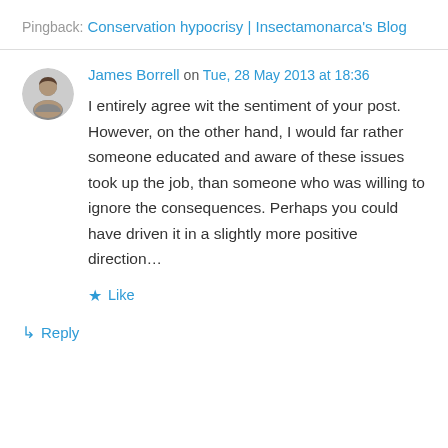Pingback: Conservation hypocrisy | Insectamonarca's Blog
James Borrell on Tue, 28 May 2013 at 18:36
I entirely agree wit the sentiment of your post. However, on the other hand, I would far rather someone educated and aware of these issues took up the job, than someone who was willing to ignore the consequences. Perhaps you could have driven it in a slightly more positive direction…
★ Like
↳ Reply